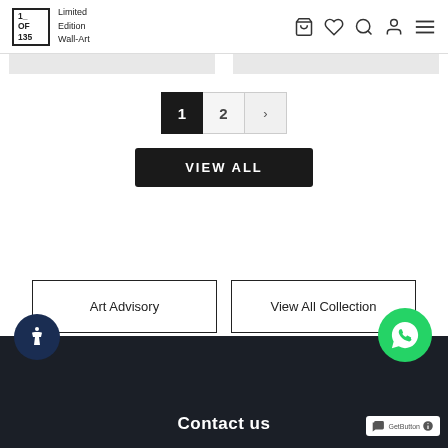1_OF 135 | Limited Edition Wall-Art
[Figure (screenshot): Two partially visible product card images (grey bars) at the top below the navigation header]
1  2  >
VIEW ALL
Art Advisory
View All Collection
Contact us